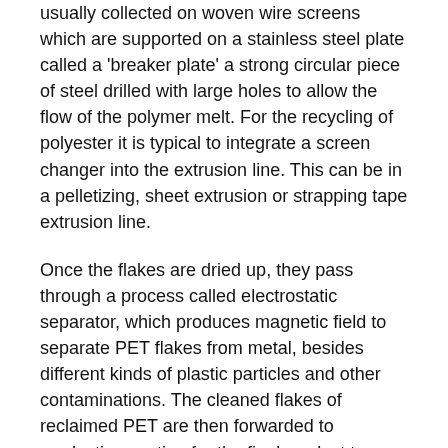usually collected on woven wire screens which are supported on a stainless steel plate called a 'breaker plate' a strong circular piece of steel drilled with large holes to allow the flow of the polymer melt. For the recycling of polyester it is typical to integrate a screen changer into the extrusion line. This can be in a pelletizing, sheet extrusion or strapping tape extrusion line.
Once the flakes are dried up, they pass through a process called electrostatic separator, which produces magnetic field to separate PET flakes from metal, besides different kinds of plastic particles and other contaminations. The cleaned flakes of reclaimed PET are then forwarded to production section for the final product to produce fibre. According to Gopal Agarwal, CFO, GPL, the sorting and processing of raw material is a key factor for maintaining uniform quality of finished product on constant basis as raw material is not having uniform characteristics, and quality of finished goods may have significant degree of variations.